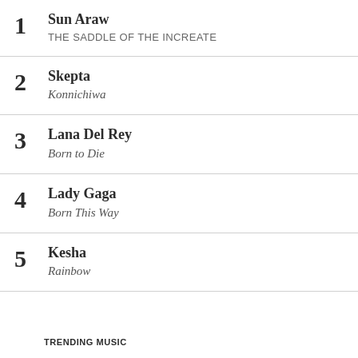1. Sun Araw — THE SADDLE OF THE INCREATE
2. Skepta — Konnichiwa
3. Lana Del Rey — Born to Die
4. Lady Gaga — Born This Way
5. Kesha — Rainbow
TRENDING MUSIC